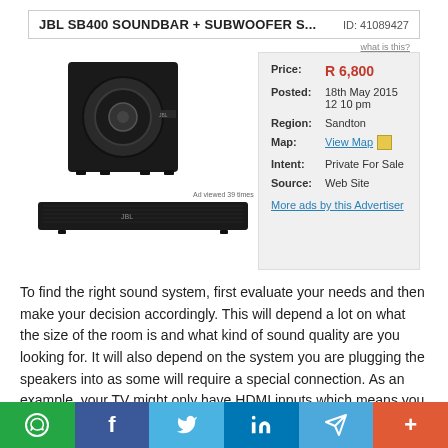JBL SB400 SOUNDBAR + SUBWOOFER S...   ID: 41089427
[Figure (photo): JBL SB400 soundbar and subwoofer product image. A black subwoofer cube on the left and a black soundbar below it. Text overlay reads: Ad viewed 39 times.]
| Price: | R 6,800 |
| Posted: | 18th May 2015 12 10 pm |
| Region: | Sandton |
| Map: | View Map |
| Intent: | Private For Sale |
| Source: | Web Site |
More ads by this Advertiser
To find the right sound system, first evaluate your needs and then make your decision accordingly. This will depend a lot on what the size of the room is and what kind of sound quality are you looking for. It will also depend on the system you are plugging the speakers into as some will require a special connection. As an example, your TV might only have HDMI inputs which means you will have to get a sound bar with an HDMI connection.
WhatsApp  Facebook  Twitter  LinkedIn  Telegram  +